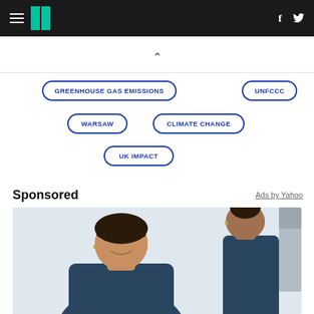HuffPost navigation with hamburger menu, logo, Facebook and Twitter icons
GREENHOUSE GAS EMISSIONS
UNFCCC
WARSAW
CLIMATE CHANGE
UK IMPACT
Sponsored
Ads by Yahoo
[Figure (photo): Two women in dark scrubs in a medical or professional setting]